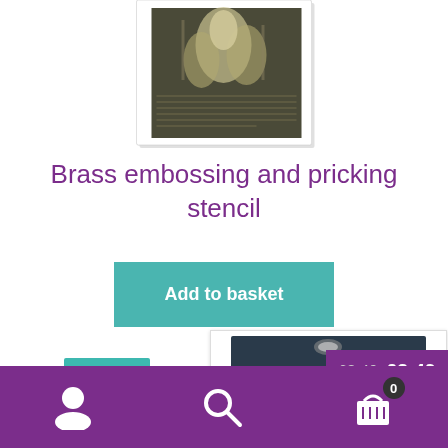[Figure (photo): Product image of a brass embossing and pricking stencil showing a floral/leaf design, partially cropped at top]
Brass embossing and pricking stencil
Add to basket
[Figure (photo): Bottom product card showing a stencil product with dark packaging, partially visible]
SALE!
£3.49  £2.49
Navigation bar with user, search, and basket icons. Basket shows 0 items.